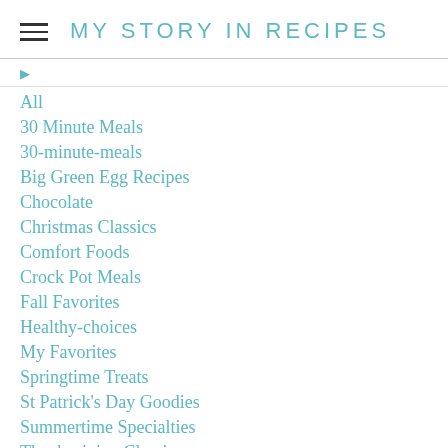MY STORY IN RECIPES
All
30 Minute Meals
30-minute-meals
Big Green Egg Recipes
Chocolate
Christmas Classics
Comfort Foods
Crock Pot Meals
Fall Favorites
Healthy-choices
My Favorites
Springtime Treats
St Patrick's Day Goodies
Summertime Specialties
Thanksgiving Classics
Valentine Treats
Vegetarian